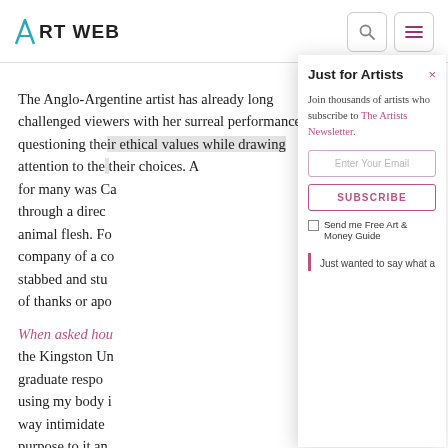ART WEB
The Anglo-Argentine artist has already long challenged viewers with her surreal performances questioning their ethical values while drawing attention to the consequences of their choices. A... for many was Ca... through a direct... animal flesh. Fo... company of a co... stabbed and stu... of thanks or apo...
When asked how... the Kingston Un... graduate respon... using my body i... way intimidate... purpose to it an...
Just for Artists
Join thousands of artists who subscribe to The Artists Newsletter.
Enter Your Email
SUBSCRIBE
Send me Free Art & Money Guide
Just wanted to say what a